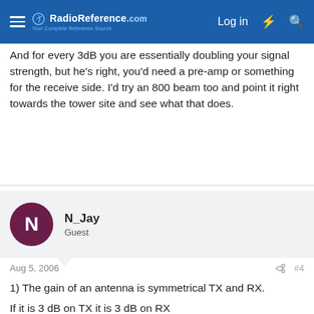RadioReference.com — Log in
And for every 3dB you are essentially doubling your signal strength, but he's right, you'd need a pre-amp or something for the receive side. I'd try an 800 beam too and point it right towards the tower site and see what that does.
N_Jay
Guest
Aug 5, 2006
#4
1) The gain of an antenna is symmetrical TX and RX.
If it is 3 dB on TX it is 3 dB on RX
2) 3 db change will be hardly noticed.
Yes it is "double the power" but don't let that confuse you. 3 dB is a relatively small change in receiver level. The difference